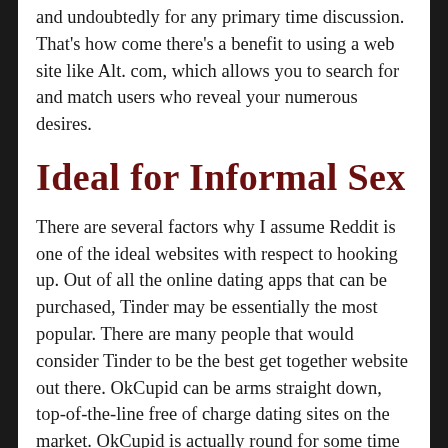and undoubtedly for any primary time discussion. That's how come there's a benefit to using a web site like Alt. com, which allows you to search for and match users who reveal your numerous desires.
Ideal for Informal Sex
There are several factors why I assume Reddit is one of the ideal websites with respect to hooking up. Out of all the online dating apps that can be purchased, Tinder may be essentially the most popular. There are many people that would consider Tinder to be the best get together website out there. OkCupid can be arms straight down, top-of-the-line free of charge dating sites on the market. OkCupid is actually round for some time but they have already managed to remain relevant through the years.
For lower than $25 per 30 days, you'll be able to delight in a number of the awesome perks that Grindr has to supply to customers. You can visit Ashley Madison online or find the vastly well-known app.